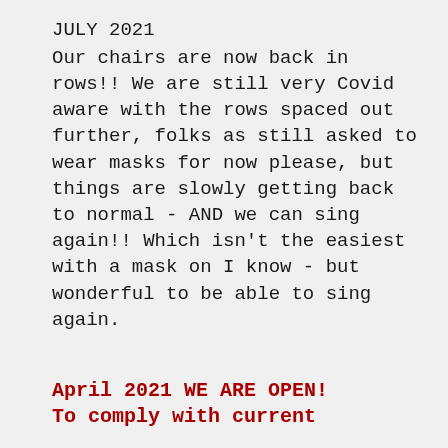JULY 2021
Our chairs are now back in rows!!  We are still very Covid aware with the rows spaced out further, folks as still asked to wear masks for now please, but things are slowly getting back to normal - AND we can sing again!!  Which isn't the easiest with a mask on I know - but wonderful to be able to sing again.
April 2021 WE ARE OPEN!
To comply with current